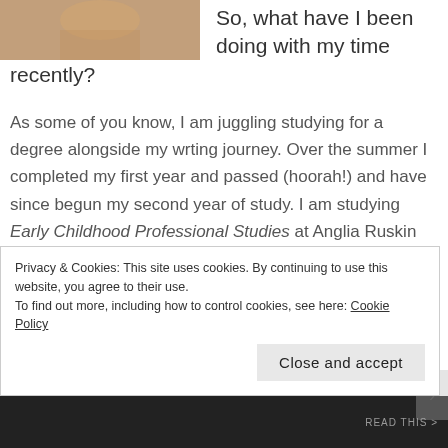[Figure (photo): Partial photo of a person, cropped at top of page]
So, what have I been doing with my time recently?
As some of you know, I am juggling studying for a degree alongside my wrting journey. Over the summer I completed my first year and passed (hoorah!) and have since begun my second year of study. I am studying Early Childhood Professional Studies at Anglia Ruskin University and totally loving it.
Privacy & Cookies: This site uses cookies. By continuing to use this website, you agree to their use.
To find out more, including how to control cookies, see here: Cookie Policy
Close and accept